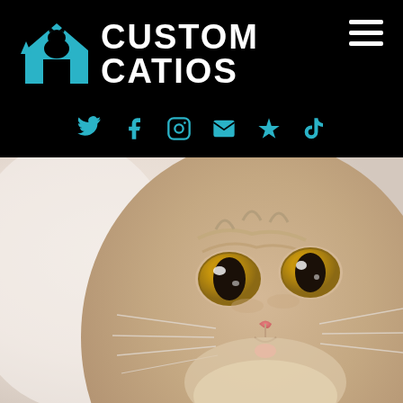[Figure (logo): Custom Catios logo with teal house icon containing a cat silhouette, white bold text 'CUSTOM CATIOS', hamburger menu icon in top right, social media icons (Twitter, Facebook, Instagram, Email, Yelp, TikTok) centered below, all on black background]
[Figure (photo): Close-up photo of a fluffy tabby cat with large amber eyes, pink nose, and slightly open mouth showing tongue, against a soft blurred background]